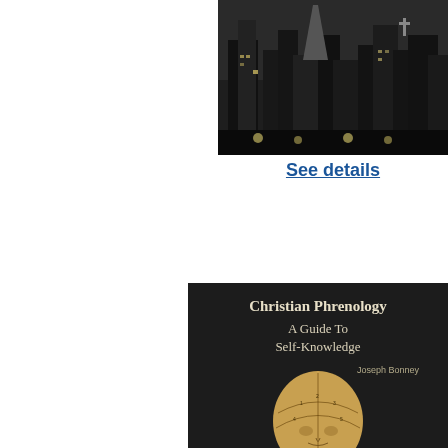[Figure (photo): Black and white photograph of a cityscape with tall buildings and monuments, partially cropped at top-right of page]
See details
[Figure (photo): Book cover for 'Christian Phrenology: A Guide To Self-Knowledge' by Joseph Bonney, showing a phrenology head diagram with labeled sections, dark background]